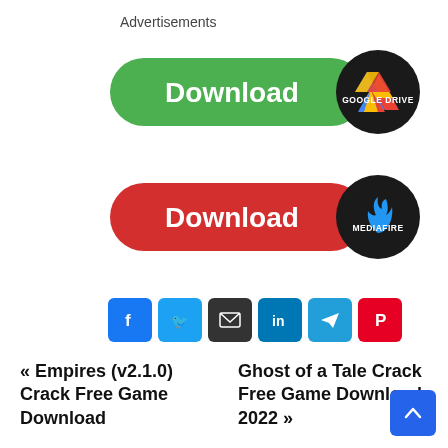Advertisements
[Figure (illustration): Green Download button with Google Drive logo badge]
[Figure (illustration): Red Download button with MediaFire logo badge]
[Figure (illustration): Social share icons: Facebook, Twitter, Email, LinkedIn, Telegram, Pinterest]
« Empires (v2.1.0) Crack Free Game Download
Ghost of a Tale Crack Free Game Download 2022 »